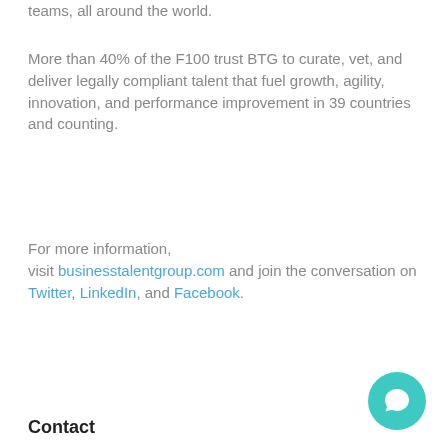teams, all around the world.
More than 40% of the F100 trust BTG to curate, vet, and deliver legally compliant talent that fuel growth, agility, innovation, and performance improvement in 39 countries and counting.
For more information, visit businesstalentgroup.com and join the conversation on Twitter, LinkedIn, and Facebook.
Contact
[Figure (illustration): Teal circular chat/messaging icon button in the bottom right corner]